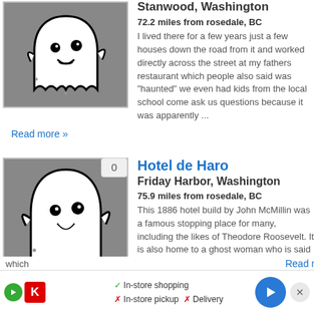[Figure (illustration): Ghost cartoon illustration on grey background, top listing]
Stanwood, Washington
72.2 miles from rosedale, BC
I lived there for a few years just a few houses down the road from it and worked directly across the street at my fathers restaurant which people also said was "haunted" we even had kids from the local school come ask us questions because it was apparently ...
Read more »
[Figure (illustration): Ghost cartoon illustration on grey background, Hotel de Haro listing]
Hotel de Haro
Friday Harbor, Washington
75.9 miles from rosedale, BC
This 1886 hotel build by John McMillin was a famous stopping place for many, including the likes of Theodore Roosevelt. It is also home to a ghost woman who is said to walk the hotel halls. Another point of interest here is the McMillin mausoleum in the nearby woods,
which
Read m
[Figure (screenshot): Ad bar at bottom: In-store shopping, In-store pickup, Delivery with store logos]